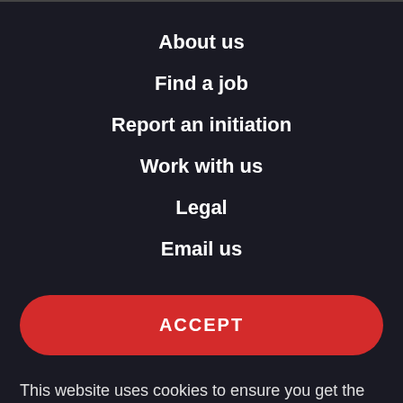About us
Find a job
Report an initiation
Work with us
Legal
Email us
ACCEPT
This website uses cookies to ensure you get the best experience. By using this site we'll assume you accept the use of cookies. Read more